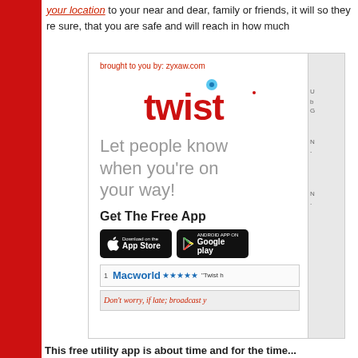your location to your near and dear, family or friends, it will so they re sure, that you are safe and will reach in how much
[Figure (screenshot): Advertisement for Twist app showing logo, tagline 'Let people know when you're on your way!', App Store and Google Play badges, Macworld rating bar, and 'Don't worry, if late; broadcast y...' text. Brought to you by: zyxaw.com]
This free utility app is about time and for the time...